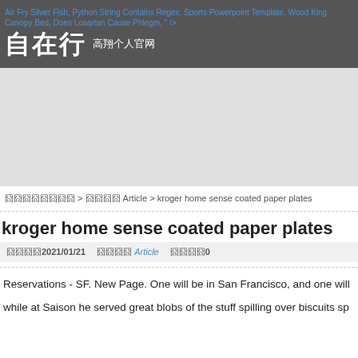Air Fry Silver Fish, Python String Contains Regex, Sports Powerpoint Template, Wood King Canopy Bed, Does Losartan Cause Phlegm, " />
自在行 高翔个人官网
[Figure (other): Advertisement / banner area (gray background placeholder)]
囧囧囧囧囧囧囧囧 > 囧囧囧囧 Article > kroger home sense coated paper plates
kroger home sense coated paper plates
囧囧囧囧2021/01/21   囧囧囧囧 Article   囧囧囧囧0
Reservations - SF. New Page. One will be in San Francisco, and one will
while at Saison he served great blobs of the stuff spilling over biscuits sp